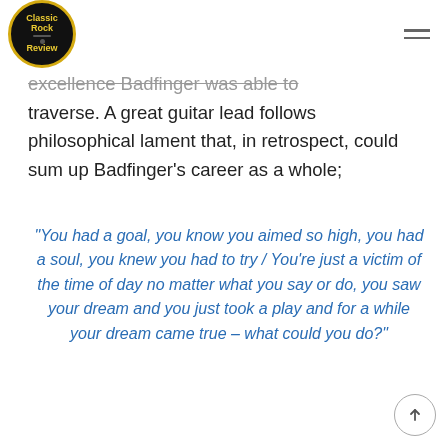Classic Rock Review
excellence Badfinger was able to traverse. A great guitar lead follows philosophical lament that, in retrospect, could sum up Badfinger's career as a whole;
“You had a goal, you know you aimed so high, you had a soul, you knew you had to try / You’re just a victim of the time of day no matter what you say or do, you saw your dream and you just took a play and for a while your dream came true – what could you do?”